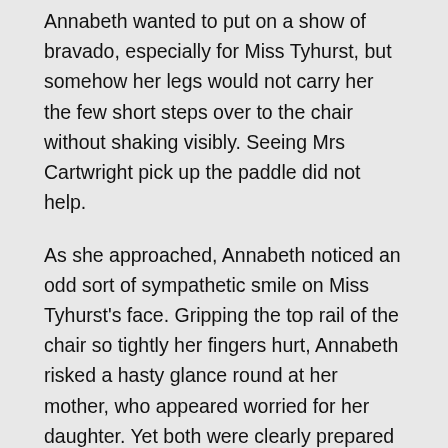Annabeth wanted to put on a show of bravado, especially for Miss Tyhurst, but somehow her legs would not carry her the few short steps over to the chair without shaking visibly. Seeing Mrs Cartwright pick up the paddle did not help.
As she approached, Annabeth noticed an odd sort of sympathetic smile on Miss Tyhurst's face. Gripping the top rail of the chair so tightly her fingers hurt, Annabeth risked a hasty glance round at her mother, who appeared worried for her daughter. Yet both were clearly prepared to witness Annabeth getting her backside pounded with that awesome wooden paddle. With everyone watching, waiting, Annabeth contemplated her final surrender. She quickly dived headfirst over the back of the chair and gripped the edge of the seat for all she was worth.